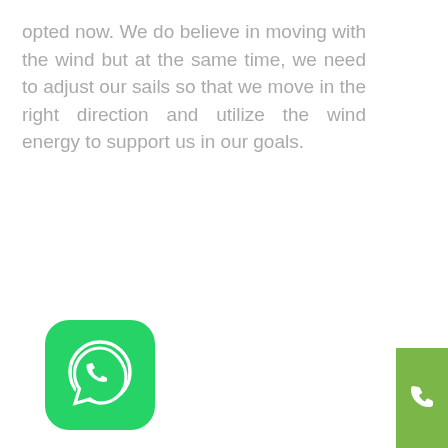opted now. We do believe in moving with the wind but at the same time, we need to adjust our sails so that we move in the right direction and utilize the wind energy to support us in our goals.
[Figure (other): Red vertical sidebar with 'Current Offer' text rotated and an arrow chevron icon, plus a green phone icon button below]
[Figure (logo): WhatsApp app icon - green rounded square with white phone handset in speech bubble]